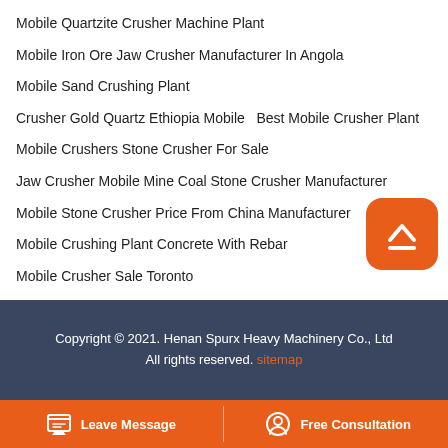Mobile Quartzite Crusher Machine Plant
Mobile Iron Ore Jaw Crusher Manufacturer In Angola
Mobile Sand Crushing Plant
Crusher Gold Quartz Ethiopia Mobile   Best Mobile Crusher Plant
Mobile Crushers Stone Crusher For Sale
Jaw Crusher Mobile Mine Coal Stone Crusher Manufacturer
Mobile Stone Crusher Price From China Manufacturer
Mobile Crushing Plant Concrete With Rebar
Mobile Crusher Sale Toronto
Copyright © 2021. Henan Spurx Heavy Machinery Co., Ltd All rights reserved. sitemap
Leave Message   Free Consultation